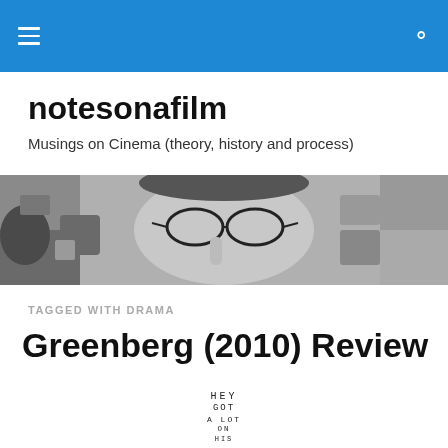notesonafilm — navigation menu and search icon
notesonafilm
Musings on Cinema (theory, history and process)
[Figure (photo): Black and white close-up photo of a person wearing glasses, looking contemplative, finger near face]
TAGGED WITH DRAMA
Greenberg (2010) Review
[Figure (other): Partial eye chart with letters: HEY, GOT, A LOT, ON, HIS]